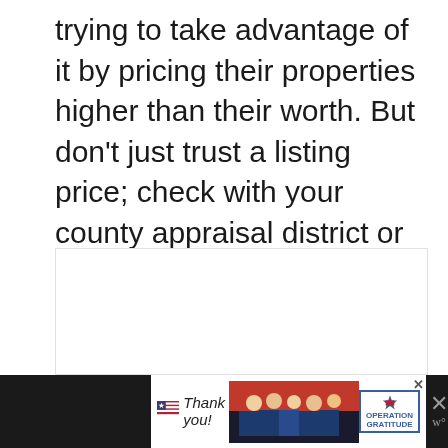trying to take advantage of it by pricing their properties higher than their worth. But don't just trust a listing price; check with your county appraisal district or local MLS for an accurate valuation and make sure you know the market value before committing.
[Figure (photo): White rectangular image placeholder area in the lower section of the page]
[Figure (infographic): Advertisement banner at bottom: dark background with 'Thank you!' handwritten text with US flag star graphic, photo of firefighters/military personnel, Operation Gratitude logo with blue star and text, close buttons]